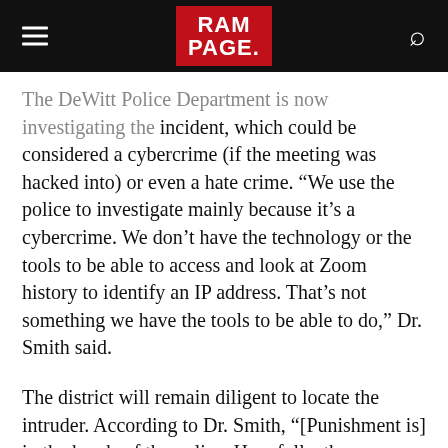RAM PAGE.
The DeWitt Police Department is now investigating the incident, which could be considered a cybercrime (if the meeting was hacked into) or even a hate crime. “We use the police to investigate mainly because it’s a cybercrime. We don’t have the technology or the tools to be able to access and look at Zoom history to identify an IP address. That’s not something we have the tools to be able to do,” Dr. Smith said.
The district will remain diligent to locate the intruder. According to Dr. Smith, “[Punishment is] in the hands of the police. Hopefully, they are successful in being able to identify someone. If it is a student, they would be subjected to the disciplinary consequences outlined in the Code of Conduct. In addition, they could be subject to some sort of legal ramifications as well. If it